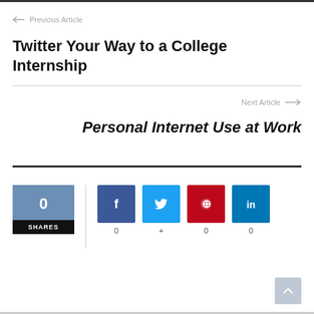← Previous Article
Twitter Your Way to a College Internship
Next Article →
Personal Internet Use at Work
0 SHARES
f 0
🐦 +
⊕ 0
in 0